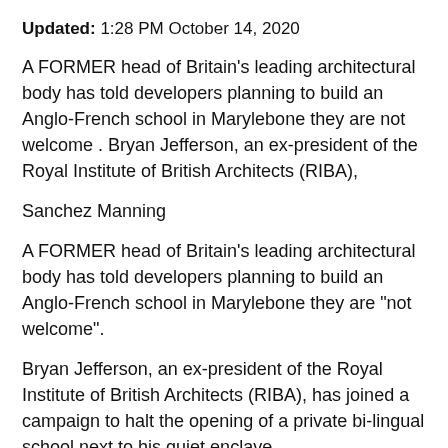Updated: 1:28 PM October 14, 2020
A FORMER head of Britain's leading architectural body has told developers planning to build an Anglo-French school in Marylebone they are not welcome . Bryan Jefferson, an ex-president of the Royal Institute of British Architects (RIBA),
Sanchez Manning
A FORMER head of Britain's leading architectural body has told developers planning to build an Anglo-French school in Marylebone they are "not welcome".
Bryan Jefferson, an ex-president of the Royal Institute of British Architects (RIBA), has joined a campaign to halt the opening of a private bi-lingual school next to his quiet enclave.
The property intelligence to Stoke-based Manning